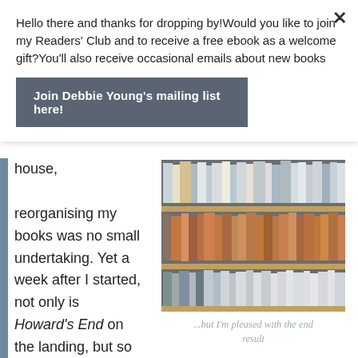Hello there and thanks for dropping by!Would you like to join my Readers' Club and to receive a free ebook as a welcome gift?You'll also receive occasional emails about new books
Join Debbie Young's mailing list here!
house, reorganising my books was no small undertaking. Yet a week after I started, not only is Howard's End on the landing, but so is the rest of my fiction.
[Figure (photo): A wooden bookshelf with multiple shelves filled with books of various sizes and colors, arranged tightly together.]
...but I'm pleased with the end result